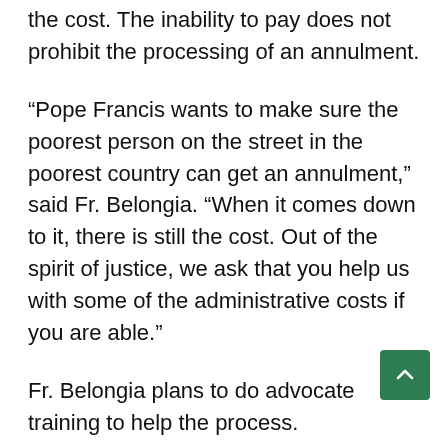the cost. The inability to pay does not prohibit the processing of an annulment.
“Pope Francis wants to make sure the poorest person on the street in the poorest country can get an annulment,” said Fr. Belongia. “When it comes down to it, there is still the cost. Out of the spirit of justice, we ask that you help us with some of the administrative costs if you are able.”
Fr. Belongia plans to do advocate training to help the process.
“The better the advocates can do on their end to get the petition here, the faster it can go,” he said